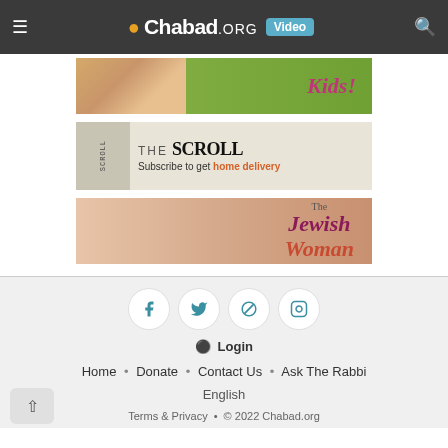Chabad.ORG Video
[Figure (illustration): Kids! section banner with smiling child wearing hat and green background]
[Figure (illustration): The Scroll newspaper - Subscribe to get home delivery]
[Figure (illustration): The Jewish Woman banner with peach background]
Login
Home • Donate • Contact Us • Ask The Rabbi
English
Terms & Privacy • © 2022 Chabad.org